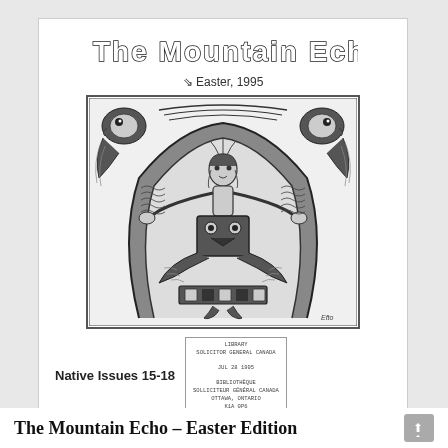The Mountain Echo
Easter, 1995
[Figure (illustration): Native/Indigenous art illustration in black and white showing a central human figure with outstretched arms, surrounded by stylized birds (eagles) in the corners, and totem-like decorative elements below, in a Pacific Northwest Indigenous art style. Artist signature 'Efto' at bottom right.]
Native Issues 15-18
LIBRARY
SOLICITOR GENERAL CANADA
JUL 28 1995

BIBLIOTHÈQUE
SOLICITEUR GÉNÉRAL CANADA
OTTAWA, ONTARIO
K1A 0P6
The Mountain Echo – Easter Edition